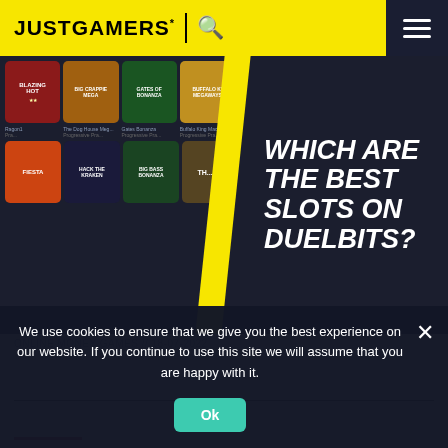JUSTGAMERS*
[Figure (screenshot): Hero image showing a grid of casino slot game thumbnails on the left, a yellow diagonal stripe in the middle, and bold italic white text reading 'WHICH ARE THE BEST SLOTS ON DUELBITS?' on a dark background on the right.]
ONLINE MONEY GAMES // 18-07-2022
Duelbits Slots: Play the Best Slots on Duelbits
Esports
We use cookies to ensure that we give you the best experience on our website. If you continue to use this site we will assume that you are happy with it.